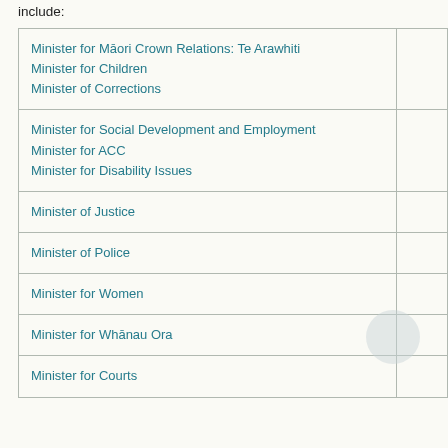include:
| Minister |  |
| --- | --- |
| Minister for Māori Crown Relations: Te Arawhiti
Minister for Children
Minister of Corrections |  |
| Minister for Social Development and Employment
Minister for ACC
Minister for Disability Issues |  |
| Minister of Justice |  |
| Minister of Police |  |
| Minister for Women |  |
| Minister for Whānau Ora |  |
| Minister for Courts |  |